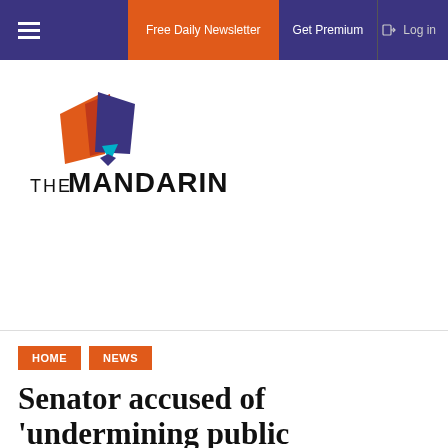Free Daily Newsletter  Get Premium  Log in
[Figure (logo): The Mandarin logo with geometric orange, red, and purple shapes above the text THE MANDARIN]
HOME  NEWS
Senator accused of 'undermining public confidence in...